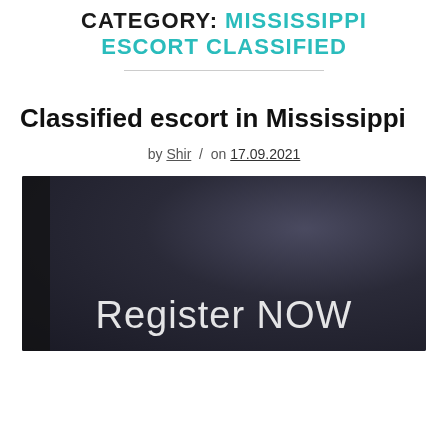CATEGORY: MISSISSIPPI ESCORT CLASSIFIED
Classified escort in Mississippi
by Shir / on 17.09.2021
[Figure (photo): Dark background image with text overlay reading 'Register NOW']